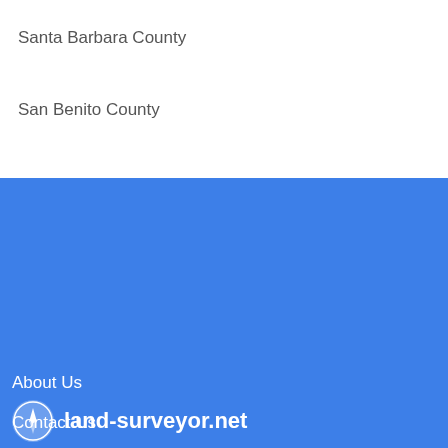Santa Barbara County
San Benito County
About Us
Contact Us
Privacy Policy
Terms and Conditions
Third party advertisements support hosting, listing verification, updates, and site maintenance. Information found on land-surveyor.net is strictly for informational purposes and does not construe advice or recommendation.
© 2022 land-surveyor.net. All Rights Reserved.
land-surveyor.net